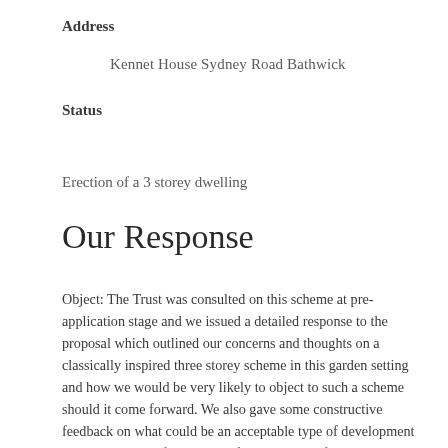Address
Kennet House Sydney Road Bathwick
Status
Erection of a 3 storey dwelling
Our Response
Object: The Trust was consulted on this scheme at pre-application stage and we issued a detailed response to the proposal which outlined our concerns and thoughts on a classically inspired three storey scheme in this garden setting and how we would be very likely to object to such a scheme should it come forward. We also gave some constructive feedback on what could be an acceptable type of development IF the principle of some sort of dwelling was found to be acceptable on this site. It